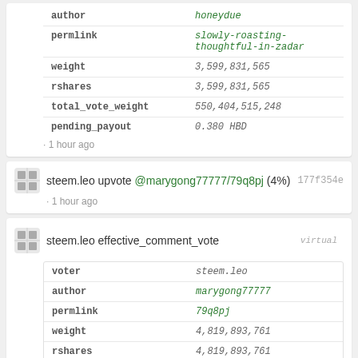| field | value |
| --- | --- |
| author | honeydue |
| permlink | slowly-roasting-thoughtful-in-zadar |
| weight | 3,599,831,565 |
| rshares | 3,599,831,565 |
| total_vote_weight | 550,404,515,248 |
| pending_payout | 0.380 HBD |
· 1 hour ago
steem.leo upvote @marygong77777/79q8pj (4%) 177f354e · 1 hour ago
steem.leo effective_comment_vote virtual
| field | value |
| --- | --- |
| voter | steem.leo |
| author | marygong77777 |
| permlink | 79q8pj |
| weight | 4,819,893,761 |
| rshares | 4,819,893,761 |
| total_vote_weight | 104,895,884,770 |
| pending_payout | 0.072 HBD |
· 1 hour ago
steem.leo upvote @taskmaster4450/roumzicz (7%) 48339e9a